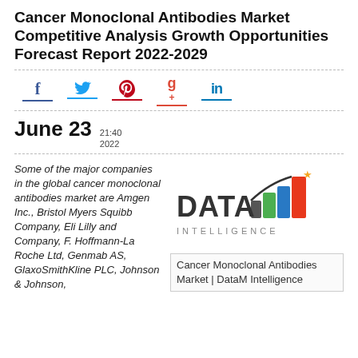Cancer Monoclonal Antibodies Market Competitive Analysis Growth Opportunities Forecast Report 2022-2029
[Figure (infographic): Social media share icons: Facebook (f), Twitter (bird), Pinterest (p), Google+ (g+), LinkedIn (in) each with colored underline]
June 23  21:40  2022
Some of the major companies in the global cancer monoclonal antibodies market are Amgen Inc., Bristol Myers Squibb Company, Eli Lilly and Company, F. Hoffmann-La Roche Ltd, Genmab AS, GlaxoSmithKline PLC, Johnson & Johnson,
[Figure (logo): DataM Intelligence logo with colored bar chart icon and yellow star]
Cancer Monoclonal Antibodies Market | DataM Intelligence